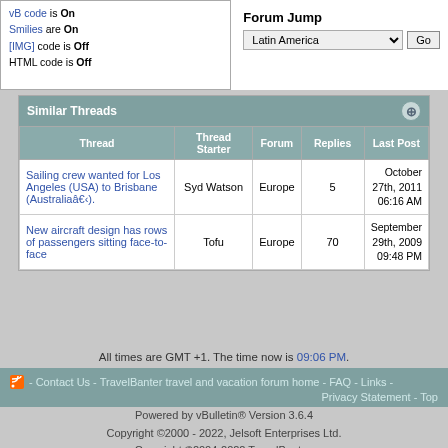vB code is On
Smilies are On
[IMG] code is Off
HTML code is Off
Forum Jump
Latin America [Go]
Similar Threads
| Thread | Thread Starter | Forum | Replies | Last Post |
| --- | --- | --- | --- | --- |
| Sailing crew wanted for Los Angeles (USA) to Brisbane (Australiaâ€‹). | Syd Watson | Europe | 5 | October 27th, 2011 06:16 AM |
| New aircraft design has rows of passengers sitting face-to-face | Tofu | Europe | 70 | September 29th, 2009 09:48 PM |
All times are GMT +1. The time now is 09:06 PM.
- Contact Us - TravelBanter travel and vacation forum home - FAQ - Links - Privacy Statement - Top
Powered by vBulletin® Version 3.6.4
Copyright ©2000 - 2022, Jelsoft Enterprises Ltd.
Copyright ©2004-2022 TravelBanter.
The comments are property of their posters.